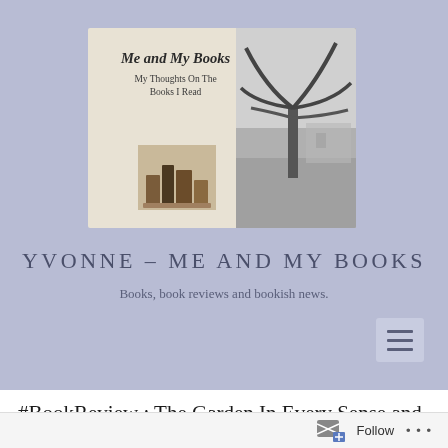[Figure (screenshot): Blog header banner for 'Me and My Books' — beige background with italic bold site name, subtitle 'My Thoughts On The Books I Read', small image of stacked books, and a black-and-white photo of a tree in a garden]
YVONNE – ME AND MY BOOKS
Books, book reviews and bookish news.
[Figure (other): Hamburger menu icon (three horizontal lines) in a light grey rounded square button]
#BookReview : The Garden In Every Sense and Season by Tovah Martin @timberpress #NetGalley
Follow